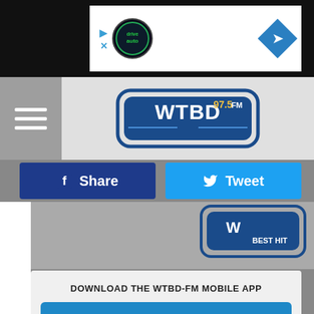[Figure (screenshot): Top advertisement banner with drive auto logo and navigation arrow icon on dark background]
[Figure (logo): WTBD 97.5 FM radio station logo in header navigation bar with hamburger menu]
[Figure (screenshot): Facebook Share button (dark blue) and Twitter Tweet button (light blue)]
[Figure (logo): Partial WTBD Best Hits radio station logo visible in gray content area]
DOWNLOAD THE WTBD-FM MOBILE APP
GET OUR FREE MOBILE APP
Germa
Cologr
[Figure (screenshot): Bottom advertisement banner with drive auto logo and navigation arrow icon on dark background]